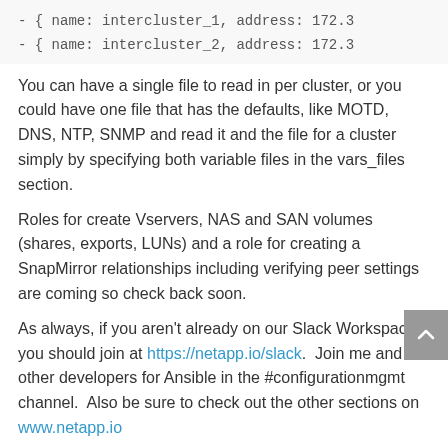- { name: intercluster_1, address: 172.3...
- { name: intercluster_2, address: 172.3...
You can have a single file to read in per cluster, or you could have one file that has the defaults, like MOTD, DNS, NTP, SNMP and read it and the file for a cluster simply by specifying both variable files in the vars_files section.
Roles for create Vservers, NAS and SAN volumes (shares, exports, LUNs) and a role for creating a SnapMirror relationships including verifying peer settings are coming so check back soon.
As always, if you aren't already on our Slack Workspace you should join at https://netapp.io/slack. Join me and other developers for Ansible in the #configurationmgmt channel. Also be sure to check out the other sections on www.netapp.io